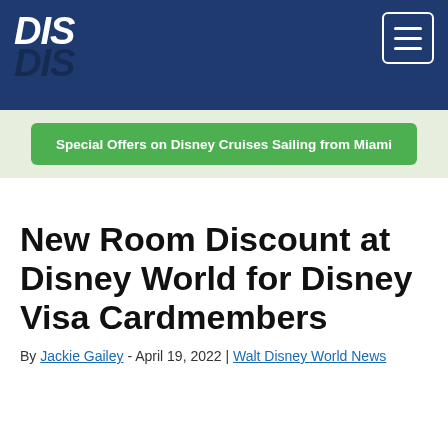DIS
Special Offers on Disney Cruises Sailing from Miami
New Room Discount at Disney World for Disney Visa Cardmembers
By Jackie Gailey - April 19, 2022 | Walt Disney World News